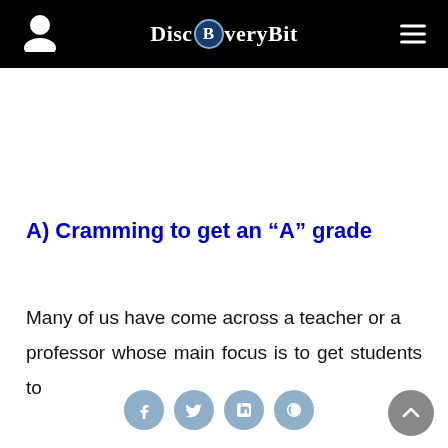DiscBveryBit
A) Cramming to get an “A” grade
Many of us have come across a teacher or a professor whose main focus is to get students to